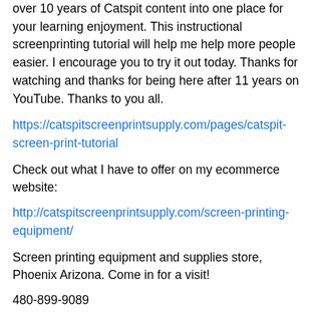over 10 years of Catspit content into one place for your learning enjoyment. This instructional screenprinting tutorial will help me help more people easier. I encourage you to try it out today. Thanks for watching and thanks for being here after 11 years on YouTube. Thanks to you all.
https://catspitscreenprintsupply.com/pages/catspit-screen-print-tutorial
Check out what I have to offer on my ecommerce website:
http://catspitscreenprintsupply.com/screen-printing-equipment/
Screen printing equipment and supplies store, Phoenix Arizona. Come in for a visit!
480-899-9089